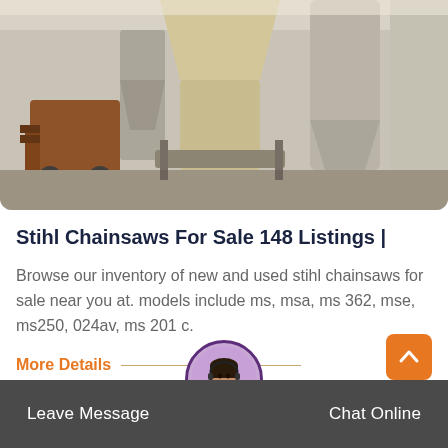[Figure (photo): Industrial facility interior with grain silos, hoppers, conveyor equipment, and a forklift in a large warehouse setting]
Stihl Chainsaws For Sale 148 Listings |
Browse our inventory of new and used stihl chainsaws for sale near you at. models include ms, msa, ms 362, mse, ms250, 024av, ms 201 c.
More Details
Leave Message   Chat Online